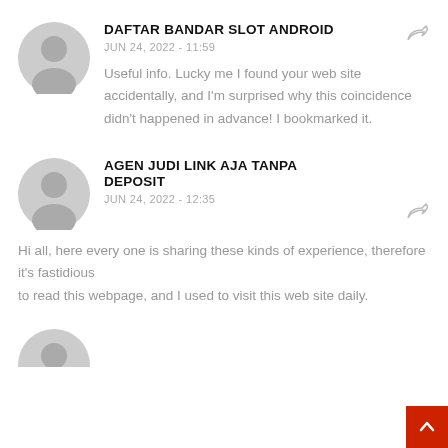[Figure (illustration): Gray circular avatar/profile icon for first comment]
DAFTAR BANDAR SLOT ANDROID
JUN 24, 2022 - 11:59
Useful info. Lucky me I found your web site accidentally, and I'm surprised why this coincidence didn't happened in advance! I bookmarked it.
[Figure (illustration): Gray circular avatar/profile icon for second comment]
AGEN JUDI LINK AJA TANPA DEPOSIT
JUN 24, 2022 - 12:35
Hi all, here every one is sharing these kinds of experience, therefore it's fastidious to read this webpage, and I used to visit this web site daily.
[Figure (illustration): Back to top red button with upward arrow]